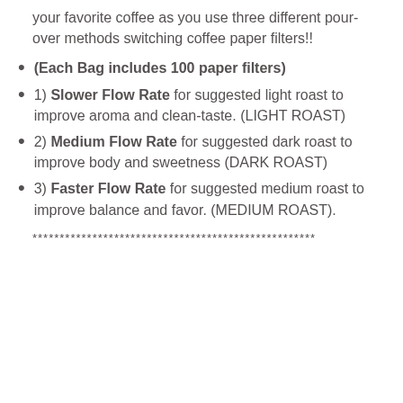your favorite coffee as you use three different pour-over methods switching coffee paper filters!!
(Each Bag includes 100 paper filters)
1) Slower Flow Rate for suggested light roast to improve aroma and clean-taste. (LIGHT ROAST)
2) Medium Flow Rate for suggested dark roast to improve body and sweetness (DARK ROAST)
3) Faster Flow Rate for suggested medium roast to improve balance and favor. (MEDIUM ROAST).
****************************************************